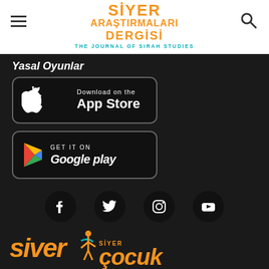[Figure (logo): Siyer Araştırmaları Dergisi - The Journal of Sirah Studies logo in orange and teal on white header]
Yasal Oyunlar
[Figure (logo): Download on the App Store button - black rounded rectangle with Apple logo]
[Figure (logo): GET IT ON Google play button - black rounded rectangle with Google Play triangle logo]
[Figure (infographic): Social media icons row: Facebook, Twitter, Instagram, YouTube - all white icons on black circles]
[Figure (logo): Bottom logos: siver (orange italic) and Siyer Çocuk (orange with figure icon)]